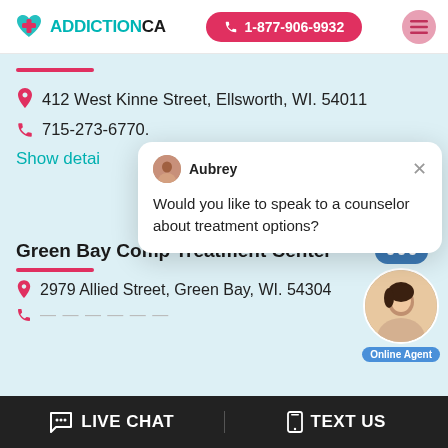[Figure (logo): AddictionCA logo with teal heart/cross icon and bold text]
1-877-906-9932
412 West Kinne Street, Ellsworth, WI. 54011
715-273-6770.
Show detai...
Aubrey
Would you like to speak to a counselor about treatment options?
Green Bay Comp Treatment Center
2979 Allied Street, Green Bay, WI. 54304
LIVE CHAT   TEXT US